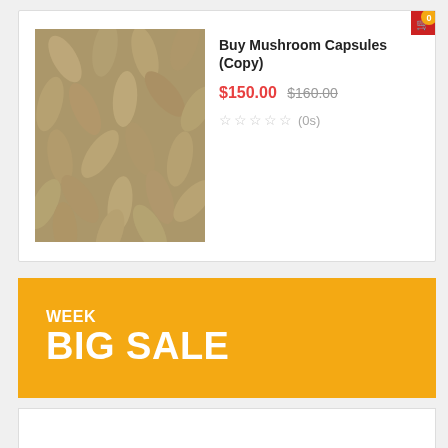[Figure (photo): Close-up photo of tan/beige mushroom capsule supplements piled together]
Buy Mushroom Capsules (Copy)
$150.00  $160.00
☆☆☆☆☆ (0s)
[Figure (infographic): Shopping cart icon with orange '0' badge in top corner]
WEEK
BIG SALE